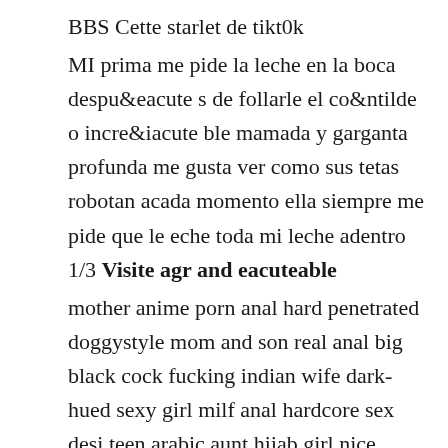BBS Cette starlet de tikt0k
MI prima me pide la leche en la boca despu&eacute;s de follarle el co&ntilde;o incre&iacute;ble mamada y garganta profunda me gusta ver como sus tetas robotan acada momento ella siempre me pide que le eche toda mi leche adentro 1/3 Visite agr and eacuteable
mother anime porn anal hard penetrated doggystyle mom and son real anal big black cock fucking indian wife dark-hued sexy girl milf anal hardcore sex desi teen arabic aunt hijab girl nice canadian wife big ass wild rough anal sex feeding filipina whore
Indian Hot Cheating Milf Bhabhi Caught By Her Husband Fucking With Two Brother Xxx Porn Sex